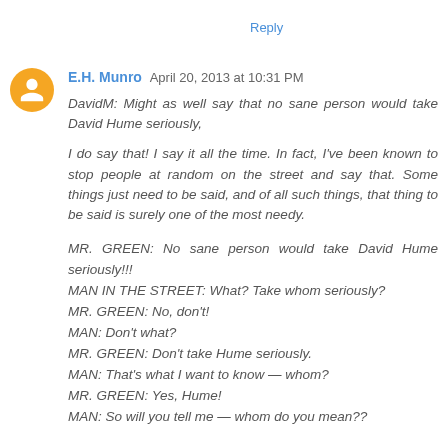Reply
E.H. Munro  April 20, 2013 at 10:31 PM
DavidM: Might as well say that no sane person would take David Hume seriously,
I do say that! I say it all the time. In fact, I've been known to stop people at random on the street and say that. Some things just need to be said, and of all such things, that thing to be said is surely one of the most needy.
MR. GREEN: No sane person would take David Hume seriously!!!
MAN IN THE STREET: What? Take whom seriously?
MR. GREEN: No, don't!
MAN: Don't what?
MR. GREEN: Don't take Hume seriously.
MAN: That's what I want to know — whom?
MR. GREEN: Yes, Hume!
MAN: So will you tell me — whom do you mean??